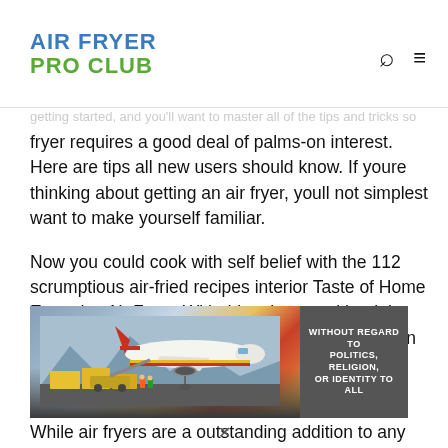AIR FRYER PRO CLUB
fryer requires a good deal of palms-on interest. Here are tips all new users should know. If youre thinking about getting an air fryer, youll not simplest want to make yourself familiar.
Now you could cook with self belief with the 112 scrumptious air-fried recipes interior Taste of Home Everyday Air Fryer. With this robust cookbook in hand, its by no means been less difficult to lighten up some of your favorite comfort foods. Now you can cook dinner.
While air fryers are a outstanding addition to any kitchen.
[Figure (photo): An advertisement banner showing a Southwest Airlines cargo plane being loaded with cargo, alongside text 'WITHOUT REGARD TO POLITICS, RELIGION, OR IDENTITY TO ALL']